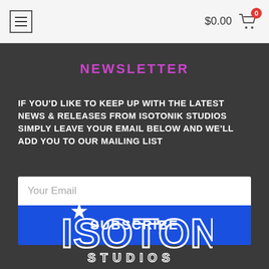$0.00  [cart icon, 0 items]
NEWSLETTER
IF YOU'D LIKE TO KEEP UP WITH THE LATEST NEWS & RELEASES FROM ISOTONIK STUDIOS SIMPLY LEAVE YOUR EMAIL BELOW AND WE'LL ADD YOU TO OUR MAILING LIST
Your Email [input field]
SUBSCRIBE
[Figure (logo): Isotonik Studios logo — stylized text with star above the I, white outlined letters on dark background]